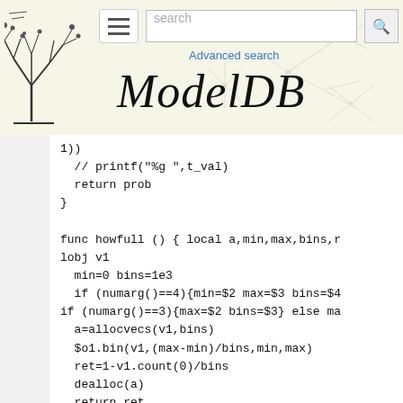[Figure (screenshot): ModelDB website header banner with tree logo, hamburger menu, search bar with 'search' placeholder and magnifying glass button, 'Advanced search' link, and 'ModelDB' title in large italic serif font on a light beige background with neuron art.]
1))
  // printf("%g ",t_val)
  return prob
}

func howfull () { local a,min,max,bins,r
lobj v1
  min=0 bins=1e3
  if (numarg()==4){min=$2 max=$3 bins=$4
if (numarg()==3){max=$2 bins=$3} else ma
  a=allocvecs(v1,bins)
  $o1.bin(v1,(max-min)/bins,min,max)
  ret=1-v1.count(0)/bins
  dealloc(a)
  return ret
}

//* Matrix things
// msize() print size of a matrix
proc msize () { printf("%d x %d\n",$o1.r
1.ncol) }